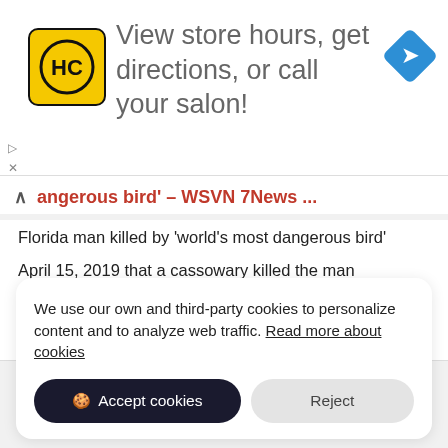[Figure (advertisement): HC logo (yellow square with HC text) and text: View store hours, get directions, or call your salon! Blue navigation arrow icon top right. Skip/close controls top left.]
angerous bird’ – WSVN 7News ...
Florida man killed by ‘world’s most dangerous bird’
April 15, 2019 that a cassowary killed the man
Friday on the property near Gainesville, ...
Source: wsvn.com
We use our own and third-party cookies to personalize content and to analyze web traffic. Read more about cookies
Accept cookies
Reject